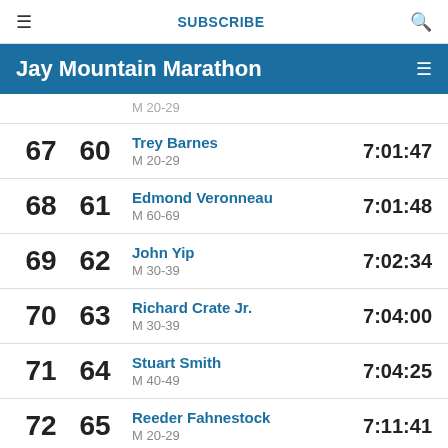≡  SUBSCRIBE  🔍
Jay Mountain Marathon
| Overall | Gender | Name / Category | Time |
| --- | --- | --- | --- |
| 67 | 60 | Trey Barnes / M 20-29 | 7:01:47 |
| 68 | 61 | Edmond Veronneau / M 60-69 | 7:01:48 |
| 69 | 62 | John Yip / M 30-39 | 7:02:34 |
| 70 | 63 | Richard Crate Jr. / M 30-39 | 7:04:00 |
| 71 | 64 | Stuart Smith / M 40-49 | 7:04:25 |
| 72 | 65 | Reeder Fahnestock / M 20-29 | 7:11:41 |